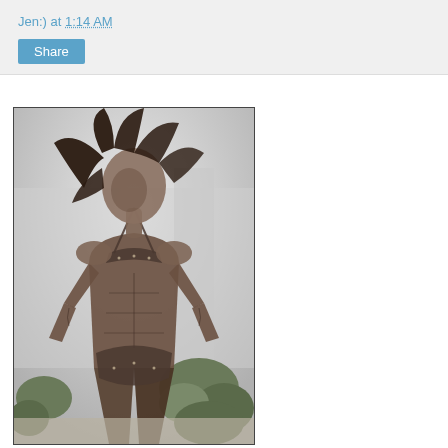Jen:) at 1:14 AM
Share
[Figure (photo): Black and white photograph of a muscular female bodybuilder posing in a bikini outdoors with plants in the background, hair blowing in the wind]